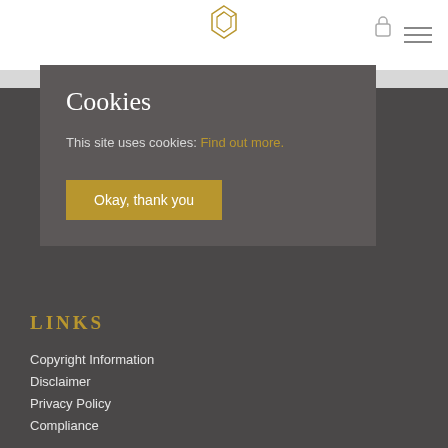[Figure (logo): Geometric diamond/hexagon logo in gold outline]
Cookies
This site uses cookies: Find out more.
Okay, thank you
LINKS
Copyright Information
Disclaimer
Privacy Policy
Compliance
GET OUR NEWSLETTER